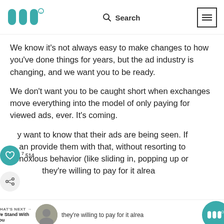Wordstream logo | Search | Menu
We know it's not always easy to make changes to how you've done things for years, but the ad industry is changing, and we want you to be ready.
We don't want you to be caught short when exchanges move everything into the model of only paying for viewed ads, ever. It's coming.
y want to know that their ads are being seen. If an provide them with that, without resorting to obnoxious behavior (like sliding in, popping up or they're willing to pay for it alrea
Long term, they'll be willing to pay even more for it